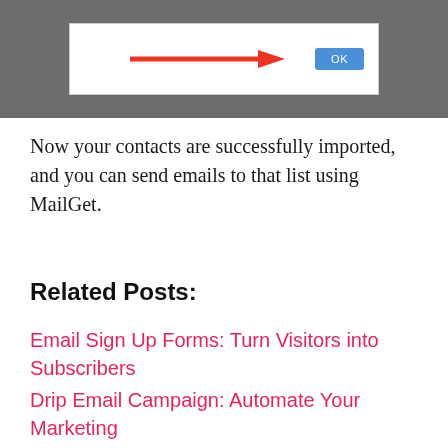[Figure (screenshot): Screenshot of a dialog box with a red arrow pointing to a blue OK button, on a dark gray background.]
Now your contacts are successfully imported, and you can send emails to that list using MailGet.
Related Posts:
Email Sign Up Forms: Turn Visitors into Subscribers
Drip Email Campaign: Automate Your Marketing
Autoresponder Email: Create an Automation Workflow!